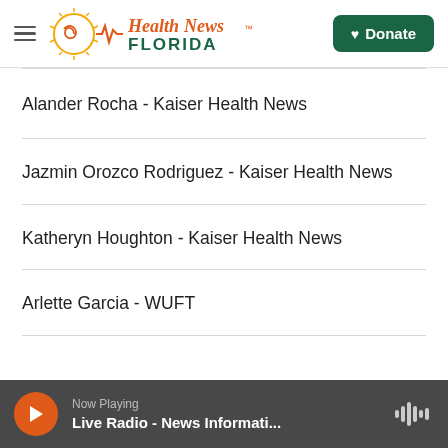Health News Florida — [logo] — Donate
Alander Rocha - Kaiser Health News
Jazmin Orozco Rodriguez - Kaiser Health News
Katheryn Houghton - Kaiser Health News
Arlette Garcia - WUFT
Now Playing
Live Radio - News Informati...